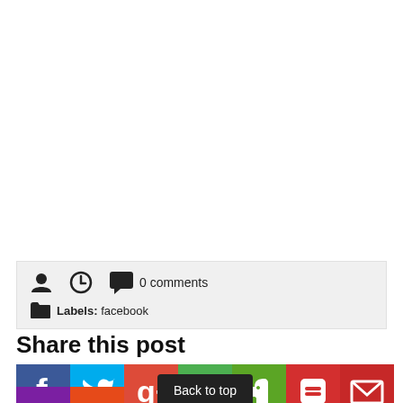0 comments  Labels: facebook
Share this post
[Figure (infographic): Social sharing icons: Facebook (blue), Twitter (cyan), Google+ (orange-red), Google (green), Evernote (green), Blogger (red), Email (red), and partial row below; Back to top tooltip overlay]